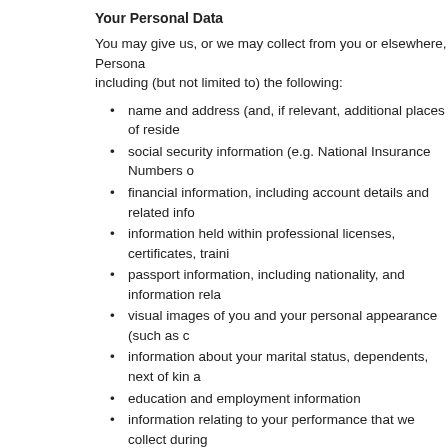Your Personal Data
You may give us, or we may collect from you or elsewhere, Personal Data including (but not limited to) the following:
name and address (and, if relevant, additional places of reside…
social security information (e.g. National Insurance Numbers o…
financial information, including account details and related info…
information held within professional licenses, certificates, traini…
passport information, including nationality, and information rela…
visual images of you and your personal appearance (such as c…
information about your marital status, dependents, next of kin a…
education and employment information
information relating to your performance that we collect during…
online profile and social media information and activity, based o… profile and login information, Internet Protocol (IP) address, sm… and mobile phone network information.
We may also process certain special categories of Personal Data fo… make our Service available, or providing you with urgent medical as… employed on a vessel we operate or manage).
These special categories may include information about:
gender racial or ethnic origin
religious or philosophical beliefs
trade union membership
physical or psychological health details or medical conditions… any Seafarer's Medical Certificate)
biometric information, relating to the physical, physiological c…